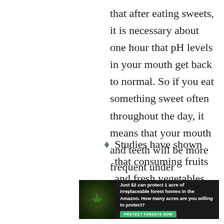that after eating sweets, it is necessary about one hour that pH levels in your mouth get back to normal. So if you eat something sweet often throughout the day, it means that your mouth and teeth will be more frequent under “attack”.
Studies have shown that consuming fruits and fresh vegetables rich in antioxidants can protect your gums from developing gum disease.
[Figure (infographic): Advertisement banner with dark forest background. Text reads: 'Just $2 can protect 1 acre of irreplaceable forest homes in the Amazon. How many acres are you willing to protect?' with a green 'PROTECT FORESTS NOW' button.]